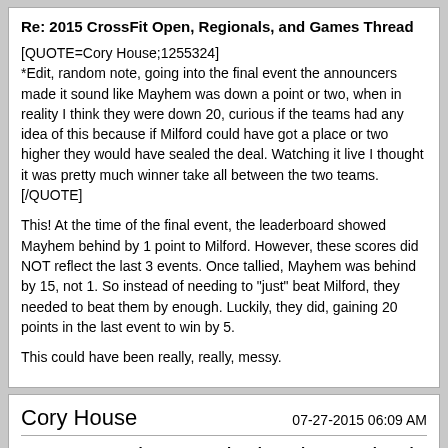Re: 2015 CrossFit Open, Regionals, and Games Thread
[QUOTE=Cory House;1255324]
*Edit, random note, going into the final event the announcers made it sound like Mayhem was down a point or two, when in reality I think they were down 20, curious if the teams had any idea of this because if Milford could have got a place or two higher they would have sealed the deal. Watching it live I thought it was pretty much winner take all between the two teams.[/QUOTE]
This! At the time of the final event, the leaderboard showed Mayhem behind by 1 point to Milford. However, these scores did NOT reflect the last 3 events. Once tallied, Mayhem was behind by 15, not 1. So instead of needing to "just" beat Milford, they needed to beat them by enough. Luckily, they did, gaining 20 points in the last event to win by 5.
This could have been really, really, messy.
Cory House
07-27-2015 06:09 AM
Re: 2015 CrossFit Open, Regionals, and Games Thread
[QUOTE=John Drohan;1255325]
This could have been really, really, messy.[/QUOTE]
I was thinking this as I was watching, how horrible would it be to think